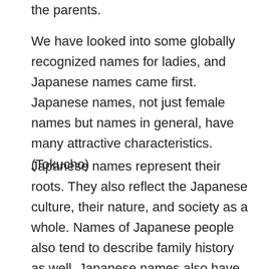the parents.
We have looked into some globally recognized names for ladies, and Japanese names came first. Japanese names, not just female names but names in general, have many attractive characteristics. (Tokucho)
Japanese names represent their roots. They also reflect the Japanese culture, their nature, and society as a whole. Names of Japanese people also tend to describe family history as well. Japanese names also have various meanings of just one name due to their attribute and feature. Also, you can have